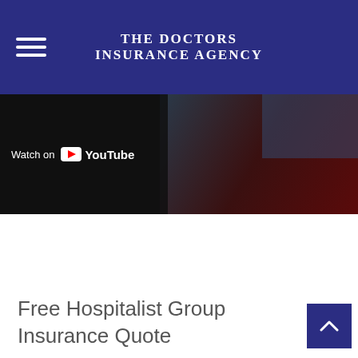The Doctors Insurance Agency
[Figure (screenshot): YouTube video thumbnail with 'Watch on YouTube' overlay bar at the bottom left, dark background with partial view of a medical/office setting]
Free Hospitalist Group Insurance Quote